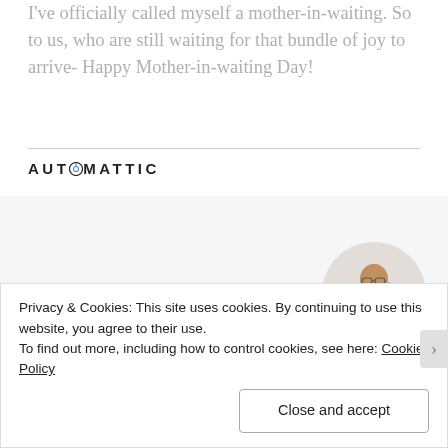I've officially called myself a mother-in-waiting. So to us, who are still waiting for that bundle of joy to arrive- Happy Mother-in-waiting Day!
[Figure (logo): Automattic company logo with stylized 'O' containing a compass icon]
[Figure (infographic): Automattic advertisement: 'Build a better web and a better world.' with a blue Apply button and a circular photo of a man thinking]
Privacy & Cookies: This site uses cookies. By continuing to use this website, you agree to their use.
To find out more, including how to control cookies, see here: Cookie Policy
Close and accept